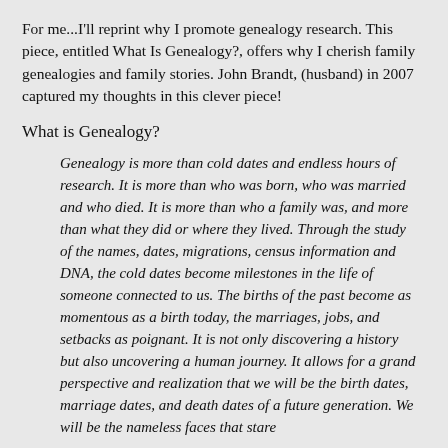For me...I'll reprint why I promote genealogy research. This piece, entitled What Is Genealogy?, offers why I cherish family genealogies and family stories. John Brandt, (husband) in 2007 captured my thoughts in this clever piece!
What is Genealogy?
Genealogy is more than cold dates and endless hours of research. It is more than who was born, who was married and who died. It is more than who a family was, and more than what they did or where they lived. Through the study of the names, dates, migrations, census information and DNA, the cold dates become milestones in the life of someone connected to us. The births of the past become as momentous as a birth today, the marriages, jobs, and setbacks as poignant. It is not only discovering a history but also uncovering a human journey. It allows for a grand perspective and realization that we will be the birth dates, marriage dates, and death dates of a future generation. We will be the nameless faces that stare